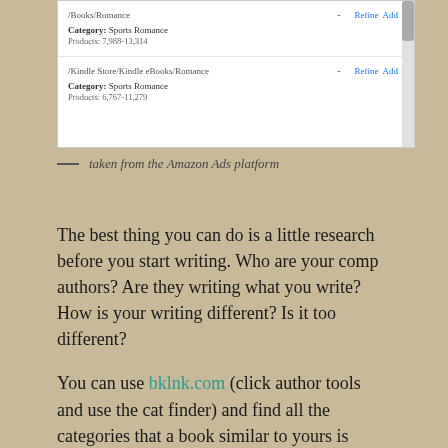[Figure (screenshot): Screenshot from Amazon Ads platform showing two category rows: /Books/Romance with Category: Sports Romance, Products: 7,988-13,314 and /Kindle Store/Kindle eBooks/Romance with Category: Sports Romance, Products: 6,767-11,279. Each row has Add and Refine links.]
— taken from the Amazon Ads platform
The best thing you can do is a little research before you start writing. Who are your comp authors? Are they writing what you write? How is your writing different? Is it too different?
You can use bklnk.com (click author tools and use the cat finder) and find all the categories that a book similar to yours is listed under by searching the ISBN or ASIN. Then you can email Amazon and have those categories added to your book. That way you can run auto placement ads and Amazon will know where to place your ad. I asked around to see if there's a list of